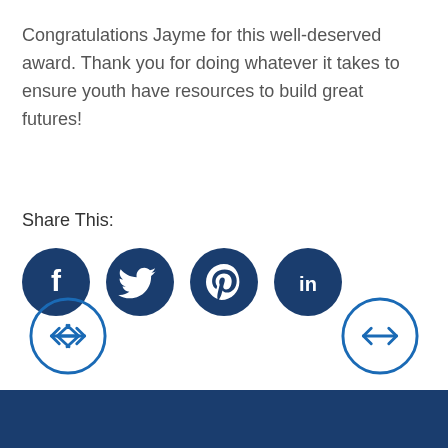Congratulations Jayme for this well-deserved award. Thank you for doing whatever it takes to ensure youth have resources to build great futures!
Share This:
[Figure (infographic): Four dark blue circular social media icons: Facebook (f), Twitter (bird), Pinterest (p), LinkedIn (in)]
[Figure (infographic): Left navigation circle button with left-right arrow icon (blue outline)]
[Figure (infographic): Right navigation circle button with left-right arrow icon (blue outline)]